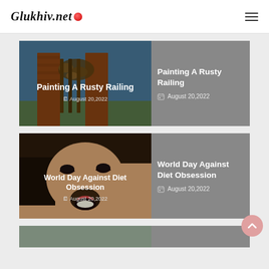Glukhiv.net
[Figure (photo): Article card: photo of rusty railing with chains on brick gate]
Painting A Rusty Railing
August 20,2022
[Figure (photo): Article card: photo of a woman eating something with dark filling]
World Day Against Diet Obsession
August 20,2022
[Figure (photo): Partial article card at bottom of page]